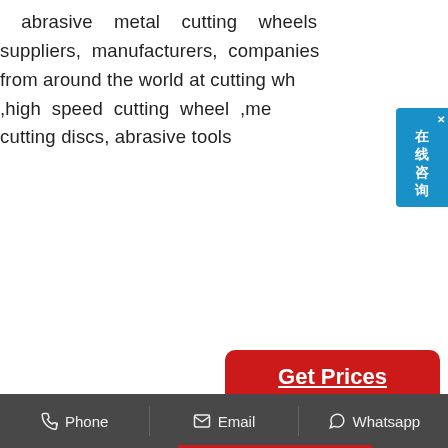abrasive metal cutting wheels suppliers, manufacturers, companies from around the world at cutting wh ,high speed cutting wheel ,me cutting discs, abrasive tools
[Figure (other): Red button with white text saying Get Prices, with underline]
[Figure (other): Small product thumbnail image with a logo in top left corner (looks like Norton brand)]
Norton Grinding Wheels & Cut-Off Wheels for sale
get the best deals on norton grinding wheels & cut-off wheels when you shop the ... full factory warranty!!! ... row diamond 4-in 24-grit cup wheel ...
Phone   Email   Whatsapp